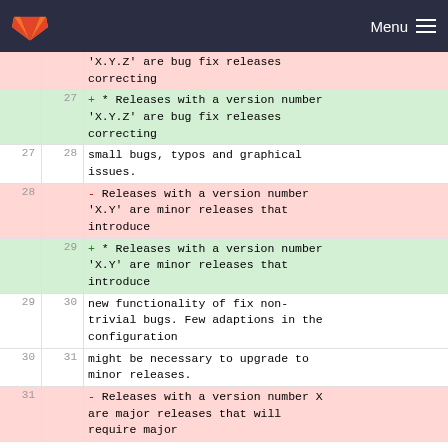GitLab Menu
| old | new | content |
| --- | --- | --- |
|  |  | 'X.Y.Z' are bug fix releases correcting |
| 27 |  | + * Releases with a version number 'X.Y.Z' are bug fix releases correcting |
| 27 | 28 | small bugs, typos and graphical issues. |
| 28 |  | - Releases with a version number 'X.Y' are minor releases that introduce |
|  | 29 | + * Releases with a version number 'X.Y' are minor releases that introduce |
| 29 | 30 | new functionality of fix non-trivial bugs. Few adaptions in the configuration |
| 30 | 31 | might be necessary to upgrade to minor releases. |
| 31 |  | - Releases with a version number X are major releases that will require major |